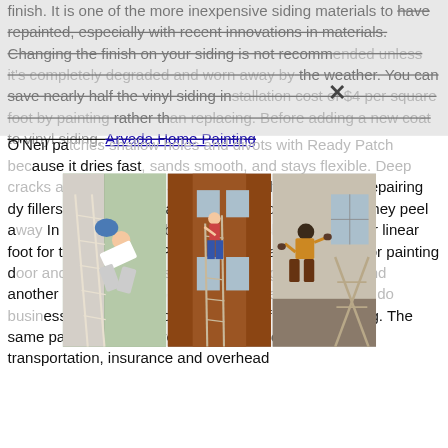finish. It is one of the more inexpensive siding materials to have repainted, especially with recent innovations in materials. Changing the finish on your siding is not recommended unless it's completely degraded and worn away by the weather. You can save nearly half the vinyl siding installation cost of $4 per square foot by painting rather than replacing. Before adding a new coat to vinyl siding, Arvada Home Painting
[Figure (photo): Three photos side by side showing people painting house siding on ladders and one person jumping]
O'Neil patches shallow holes and divots with Ready Patch because it dries fast, sands smooth, and stays flexible. Deep cracks and rotten spots are made by Advanced (see Repairing body fillers on wood a based painting co but then they peel a In one are baseboard rge $1.50 per linear foot for the same task. Painters may charge flat rates for painting door and window frames, with one charging $20-$25 and another $60 per door. Geography and regional costs to do business play a major role in the cost of interior painting. The same painter in a rural region has less to pay in taxes, transportation, insurance and overhead